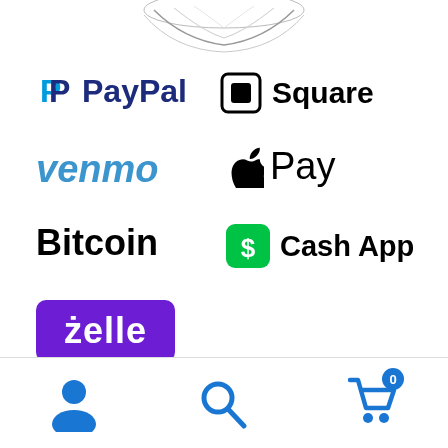[Figure (illustration): Partial illustration of a product or item at the top of the page, cropped]
[Figure (logo): PayPal logo with blue P icon and bold PayPal text]
[Figure (logo): Square logo with black rounded square icon and Square text]
[Figure (logo): Venmo logo in blue bold italic font]
[Figure (logo): Apple Pay logo with apple icon and Pay text]
[Figure (logo): Bitcoin logo in bold black text]
[Figure (logo): Cash App logo with green rounded square S icon and Cash App text]
[Figure (logo): Zelle logo in white text on purple rounded rectangle background]
[Figure (infographic): Bottom navigation bar with user icon, search icon, and cart icon with badge showing 0]